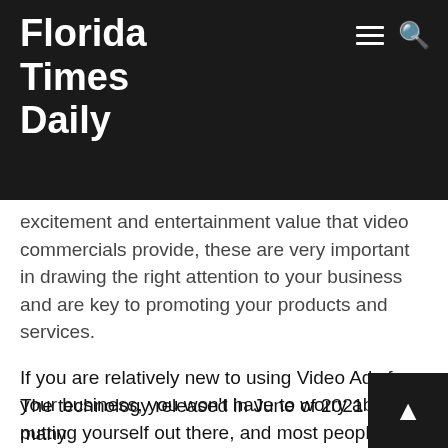Florida Times Daily
excitement and entertainment value that video commercials provide, these are very important in drawing the right attention to your business and are key to promoting your products and services.
If you are relatively new to using Video Ads for your business, you won't have to worry about putting yourself out there, and most people are just not comfortable with doing this, you want to leave it to professional actors or spokespersons. The Human Synthesys Studio provides you with up to 50 human like characters and voices that will do the speaking and marketing for you.
The technology released in June of 2021 has many